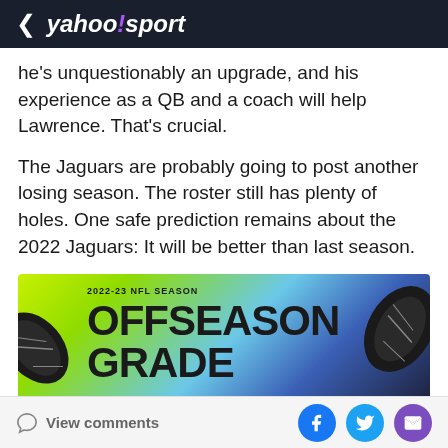< yahoo!sport
he's unquestionably an upgrade, and his experience as a QB and a coach will help Lawrence. That's crucial.
The Jaguars are probably going to post another losing season. The roster still has plenty of holes. One safe prediction remains about the 2022 Jaguars: It will be better than last season.
[Figure (illustration): 2022-23 NFL Season Offseason Grade banner image with football graphics on yellow-green and blue background]
(Amber Matsumoto/Yahoo Sports)
The Jaguars overpaid for everyone. The contract given
View comments